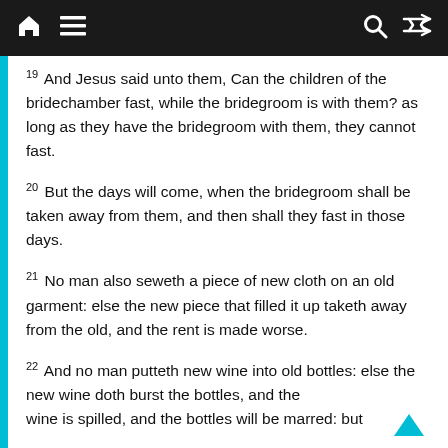Navigation header with home, menu, search, and shuffle icons
19 And Jesus said unto them, Can the children of the bridechamber fast, while the bridegroom is with them? as long as they have the bridegroom with them, they cannot fast.
20 But the days will come, when the bridegroom shall be taken away from them, and then shall they fast in those days.
21 No man also seweth a piece of new cloth on an old garment: else the new piece that filled it up taketh away from the old, and the rent is made worse.
22 And no man putteth new wine into old bottles: else the new wine doth burst the bottles, and the wine is spilled, and the bottles will be marred: but